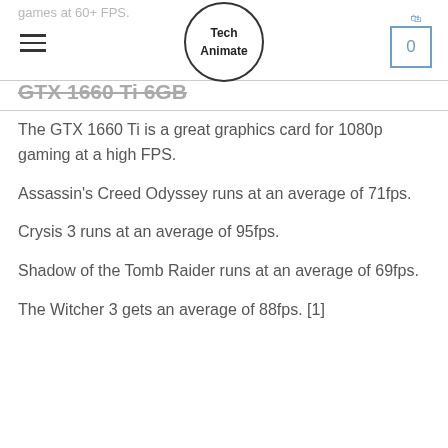games at 60+ FPS. Tech Animate 0
GTX 1660 Ti 6GB
The GTX 1660 Ti is a great graphics card for 1080p gaming at a high FPS.
Assassin's Creed Odyssey runs at an average of 71fps.
Crysis 3 runs at an average of 95fps.
Shadow of the Tomb Raider runs at an average of 69fps.
The Witcher 3 gets an average of 88fps. [1]